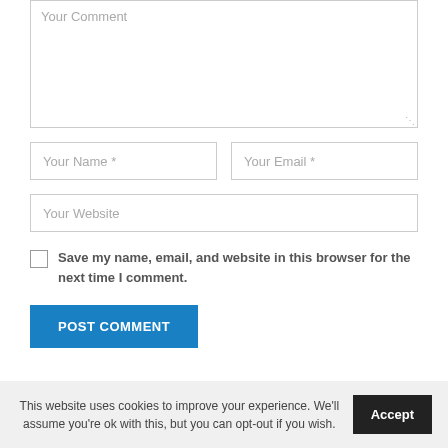Your Comment
Your Name *
Your Email *
Your Website
Save my name, email, and website in this browser for the next time I comment.
POST COMMENT
This website uses cookies to improve your experience. We'll assume you're ok with this, but you can opt-out if you wish.
Accept